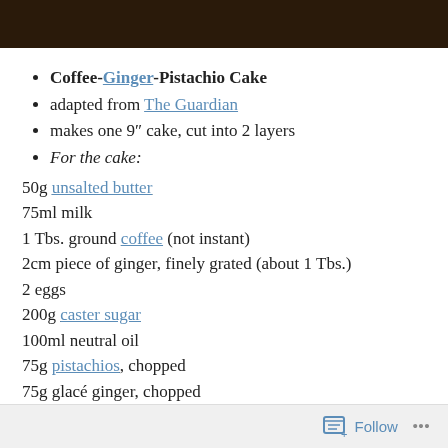[Figure (photo): Dark brown wooden surface photo strip at top of page]
Coffee-Ginger-Pistachio Cake
adapted from The Guardian
makes one 9" cake, cut into 2 layers
For the cake:
50g unsalted butter
75ml milk
1 Tbs. ground coffee (not instant)
2cm piece of ginger, finely grated (about 1 Tbs.)
2 eggs
200g caster sugar
100ml neutral oil
75g pistachios, chopped
75g glacé ginger, chopped
275g plain flour
1 Tbs. baking powder
Follow ...